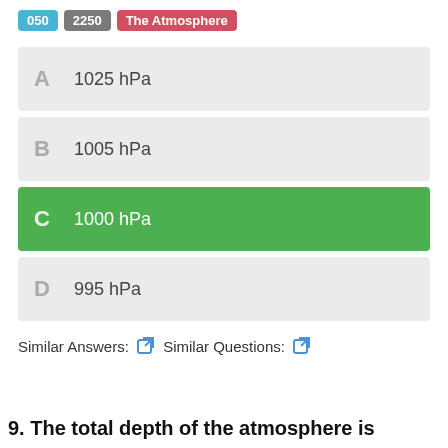050  2250  The Atmosphere
A  1025 hPa
B  1005 hPa
C  1000 hPa (correct answer)
D  995 hPa
Similar Answers:  Similar Questions:
9. The total depth of the atmosphere is